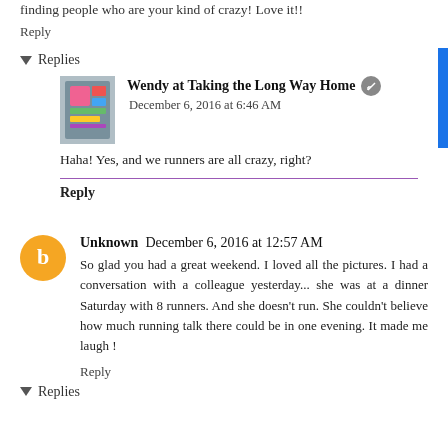finding people who are your kind of crazy! Love it!!
Reply
▾ Replies
Wendy at Taking the Long Way Home
December 6, 2016 at 6:46 AM
Haha! Yes, and we runners are all crazy, right?
Reply
Unknown  December 6, 2016 at 12:57 AM
So glad you had a great weekend. I loved all the pictures. I had a conversation with a colleague yesterday... she was at a dinner Saturday with 8 runners. And she doesn't run. She couldn't believe how much running talk there could be in one evening. It made me laugh !
Reply
▾ Replies